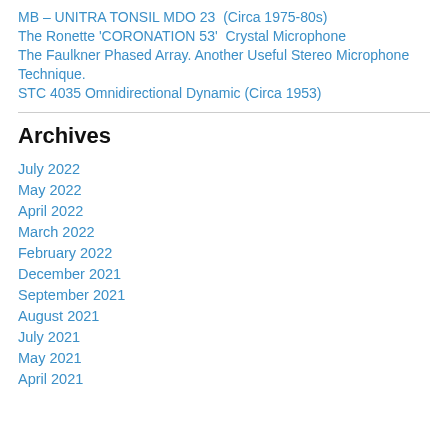MB – UNITRA TONSIL MDO 23  (Circa 1975-80s)
The Ronette 'CORONATION 53'  Crystal Microphone
The Faulkner Phased Array. Another Useful Stereo Microphone Technique.
STC 4035 Omnidirectional Dynamic (Circa 1953)
Archives
July 2022
May 2022
April 2022
March 2022
February 2022
December 2021
September 2021
August 2021
July 2021
May 2021
April 2021